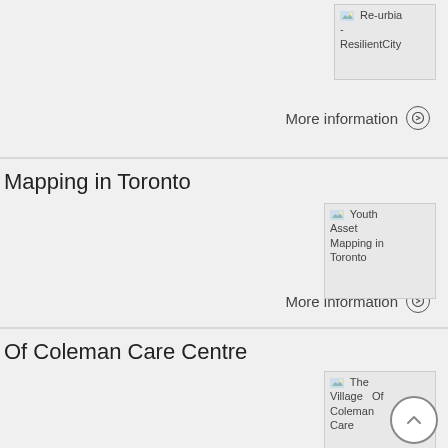[Figure (screenshot): Placeholder image for Re-urbia - ResilientCity]
More information →
Mapping in Toronto
[Figure (screenshot): Placeholder image for Youth Asset Mapping in Toronto]
More information →
Of Coleman Care Centre
[Figure (screenshot): Placeholder image for The Village Of Coleman Care]